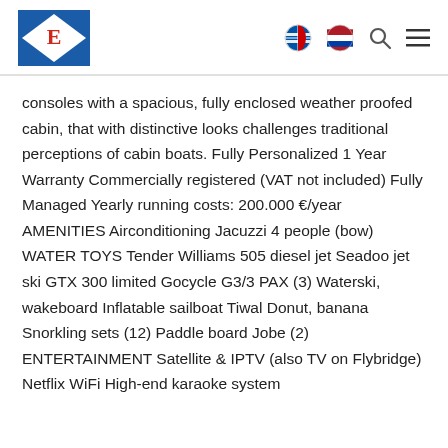E [logo] | UK flag | NL flag | Search | Menu
consoles with a spacious, fully enclosed weather proofed cabin, that with distinctive looks challenges traditional perceptions of cabin boats. Fully Personalized 1 Year Warranty Commercially registered (VAT not included) Fully Managed Yearly running costs: 200.000 €/year AMENITIES Airconditioning Jacuzzi 4 people (bow) WATER TOYS Tender Williams 505 diesel jet Seadoo jet ski GTX 300 limited Gocycle G3/3 PAX (3) Waterski, wakeboard Inflatable sailboat Tiwal Donut, banana Snorkling sets (12) Paddle board Jobe (2) ENTERTAINMENT Satellite & IPTV (also TV on Flybridge) Netflix WiFi High-end karaoke system